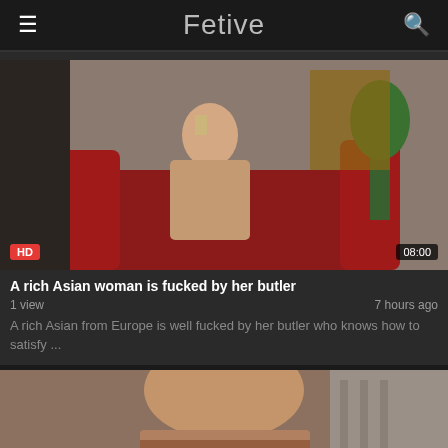Fetive
[Figure (photo): Thumbnail of a woman in lingerie sitting on a red couch, drinking from a glass. HD badge bottom-left, 08:00 duration badge bottom-right.]
A rich Asian woman is fucked by her butler
1 view   7 hours ago
A rich Asian from Europe is well fucked by her butler who knows how to satisfy ...
[Figure (photo): Partial thumbnail showing a close-up of a person, cropped at bottom of page.]